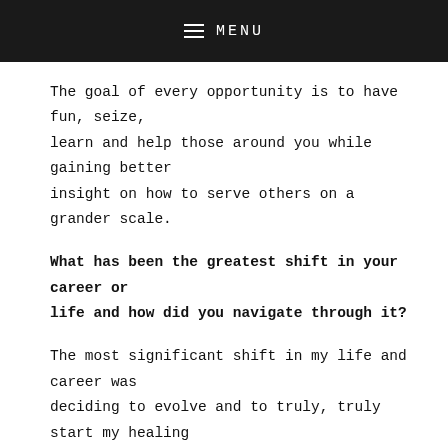MENU
The goal of every opportunity is to have fun, seize, learn and help those around you while gaining better insight on how to serve others on a grander scale.
What has been the greatest shift in your career or life and how did you navigate through it?
The most significant shift in my life and career was deciding to evolve and to truly, truly start my healing process at the beginning of 2015. The process of embracing and going through the emotions was ugly, unsettling, and raw. It was both extremely exhausting yet exhilarating to let go and stay motivated to grasp any form of life around me at the time. Navigating